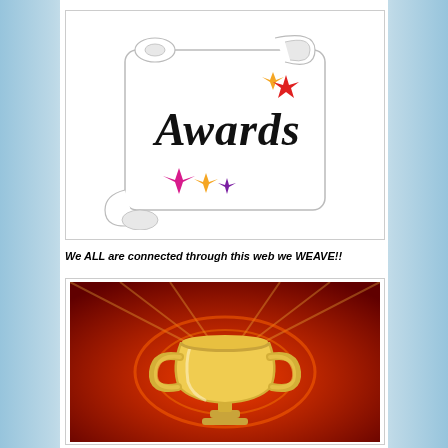[Figure (illustration): Awards scroll/certificate illustration with colorful stars and cursive 'Awards' text]
We ALL are connected through this web we WEAVE!!
[Figure (illustration): Golden trophy cup on a red dramatic background with light rays]